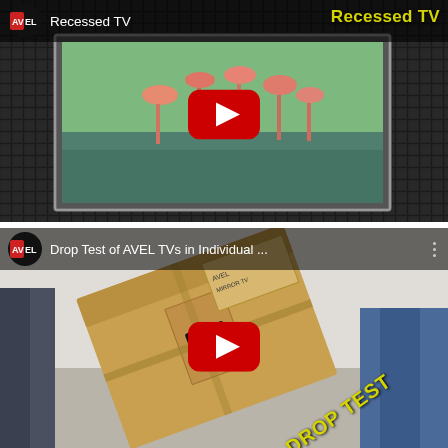[Figure (screenshot): YouTube video thumbnail for 'Recessed TV' by AVEL. Shows a TV with flamingo display recessed into a mosaic tile wall. AVEL logo (black circle with AV/EL text) top-left, 'Recessed TV' title text white on dark bar. Large red YouTube play button centered. 'Recessed TV' label in yellow/bold top-right.]
[Figure (screenshot): YouTube video thumbnail for 'Drop Test of AVEL TVs in Individual ...' by AVEL. Shows a cardboard box falling/being dropped, with a person's legs in jeans visible on the right. AVEL logo top-left, title text white. Large red YouTube play button centered. 'DROP TEST' text in yellow/bold at an angle bottom-right.]